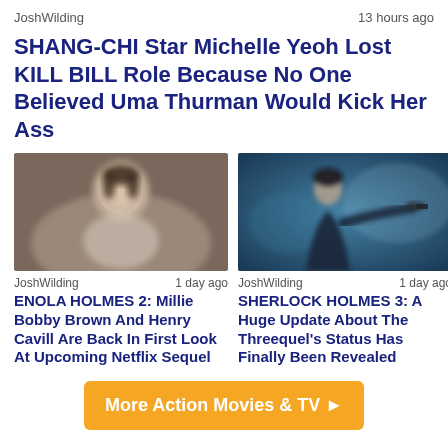JoshWilding    13 hours ago
SHANG-CHI Star Michelle Yeoh Lost KILL BILL Role Because No One Believed Uma Thurman Would Kick Her Ass
[Figure (photo): Photo of Michelle Yeoh, a woman with dark hair, wearing light-colored clothing, blurred background]
JoshWilding    1 day ago
ENOLA HOLMES 2: Millie Bobby Brown And Henry Cavill Are Back In First Look At Upcoming Netflix Sequel
[Figure (photo): Photo of a man in dark suit holding a gun, blue-toned cinematic background, Sherlock Holmes style]
JoshWilding    1 day ago
SHERLOCK HOLMES 3: A Huge Update About The Threequel's Status Has Finally Been Revealed
More Action Movies & TV ►